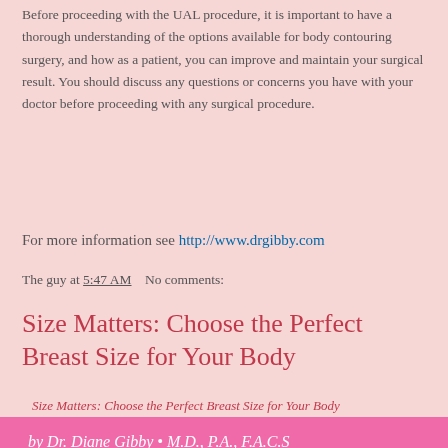Before proceeding with the UAL procedure, it is important to have a thorough understanding of the options available for body contouring surgery, and how as a patient, you can improve and maintain your surgical result. You should discuss any questions or concerns you have with your doctor before proceeding with any surgical procedure.
For more information see http://www.drgibby.com
The guy at 5:47 AM    No comments:
Size Matters: Choose the Perfect Breast Size for Your Body
Size Matters: Choose the Perfect Breast Size for Your Body
by Dr. Diane Gibby • M.D., P.A., F.A.C.S
Breast Augmentation is a surgical procedure to enhance the size and shape of a woman's breast.  Women may choose this procedure for several reasons:  to enhance their body contour; to correct a reduction in breast size after pregnancy; to balance a difference in breast size; or as a reconstructive technique following breast surgery.